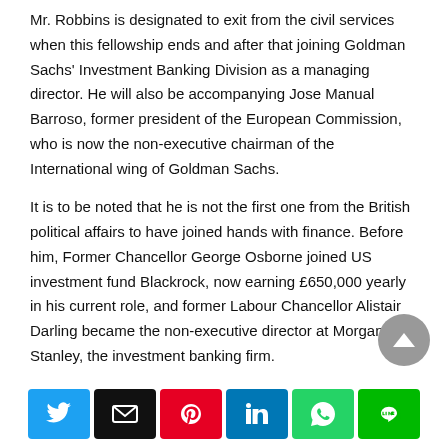Mr. Robbins is designated to exit from the civil services when this fellowship ends and after that joining Goldman Sachs' Investment Banking Division as a managing director. He will also be accompanying Jose Manual Barroso, former president of the European Commission, who is now the non-executive chairman of the International wing of Goldman Sachs.
It is to be noted that he is not the first one from the British political affairs to have joined hands with finance. Before him, Former Chancellor George Osborne joined US investment fund Blackrock, now earning £650,000 yearly in his current role, and former Labour Chancellor Alistair Darling became the non-executive director at Morgan Stanley, the investment banking firm.
[Figure (other): Social sharing bar with buttons for Twitter, Email, Pinterest, LinkedIn, WhatsApp, and LINE]